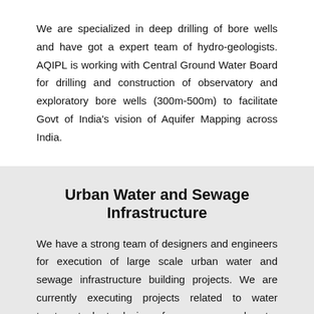We are specialized in deep drilling of bore wells and have got a expert team of hydro-geologists. AQIPL is working with Central Ground Water Board for drilling and construction of observatory and exploratory bore wells (300m-500m) to facilitate Govt of India’s vision of Aquifer Mapping across India.
Urban Water and Sewage Infrastructure
We have a strong team of designers and engineers for execution of large scale urban water and sewage infrastructure building projects. We are currently executing projects related to water treatment plants, laying of new sewer and water supply networks and construction of sewage treatment plants and pumping stations across